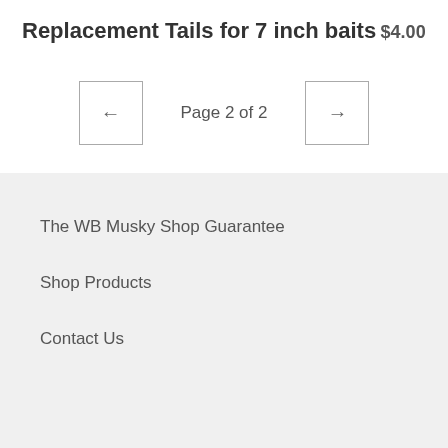Replacement Tails for 7 inch baits
$4.00
← Page 2 of 2 →
The WB Musky Shop Guarantee
Shop Products
Contact Us